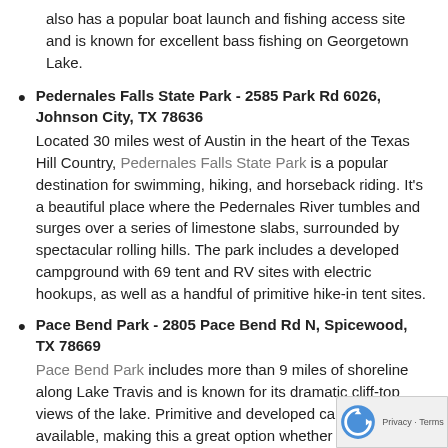also has a popular boat launch and fishing access site and is known for excellent bass fishing on Georgetown Lake.
Pedernales Falls State Park - 2585 Park Rd 6026, Johnson City, TX 78636
Located 30 miles west of Austin in the heart of the Texas Hill Country, Pedernales Falls State Park is a popular destination for swimming, hiking, and horseback riding. It's a beautiful place where the Pedernales River tumbles and surges over a series of limestone slabs, surrounded by spectacular rolling hills. The park includes a developed campground with 69 tent and RV sites with electric hookups, as well as a handful of primitive hike-in tent sites.
Pace Bend Park - 2805 Pace Bend Rd N, Spicewood, TX 78669
Pace Bend Park includes more than 9 miles of shoreline along Lake Travis and is known for its dramatic cliff-top views of the lake. Primitive and developed campsites are available, making this a great option whether you prefer to camp in a tent with minimal amenities, or in an all the comforts of home. The park also includes fishing access, hiking trails, a boat ramp, and a beach.